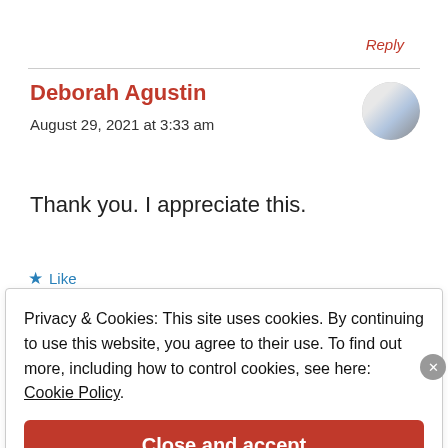Reply
Deborah Agustin
August 29, 2021 at 3:33 am
Thank you. I appreciate this.
★ Like
Privacy & Cookies: This site uses cookies. By continuing to use this website, you agree to their use. To find out more, including how to control cookies, see here: Cookie Policy.
Close and accept